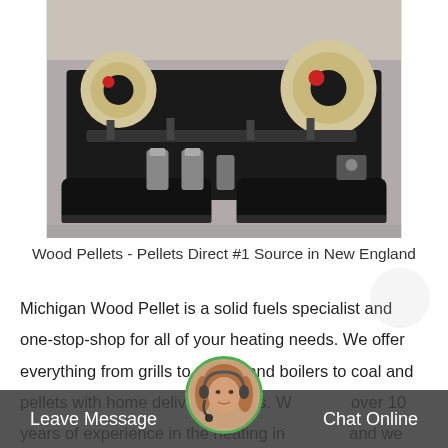[Figure (photo): Industrial heavy machinery — a large black tracked crawler with heavy mechanical components, pulleys, and belt systems inside a warehouse or factory setting.]
Wood Pellets - Pellets Direct #1 Source in New England
Michigan Wood Pellet is a solid fuels specialist and one-stop-shop for all of your heating needs. We offer everything from grills to stoves and boilers to coal and pellets with home delivery options. W over 10 years of experience in the heating industry, and we manufacture
[Figure (photo): Chat widget overlay: avatar of a woman with headset, green-bordered circle, with dark bar showing 'Leave Message' on left and 'Chat Online' on right.]